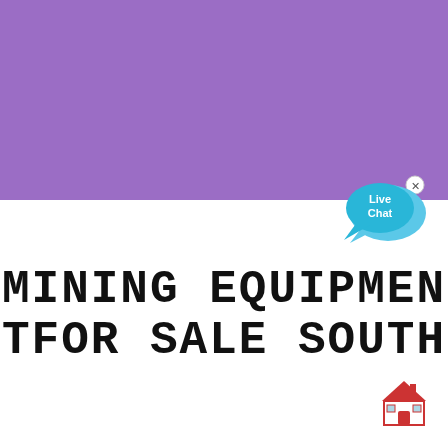[Figure (illustration): Purple rectangular banner/header block occupying the top portion of the page]
[Figure (illustration): Live Chat speech bubble widget in cyan/blue with 'Live Chat' text and a small x close button, positioned at the transition between purple and white sections]
MINING EQUIPMENT FOR SALE SOUTH
[Figure (illustration): Small house/building emoji icon in red and white at bottom right corner]